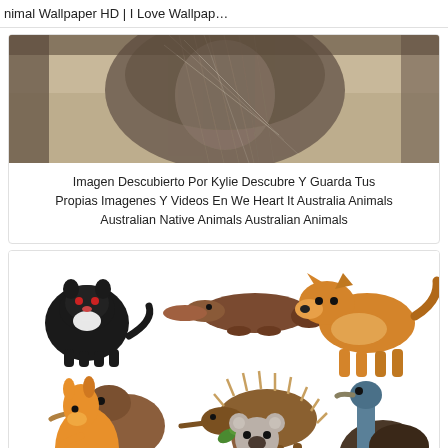Animal Wallpaper HD | I Love Wallpap…
[Figure (photo): Close-up photo of a kangaroo's fur and body, brownish-grey, viewed from the front-lower angle]
Imagen Descubierto Por Kylie Descubre Y Guarda Tus Propias Imagenes Y Videos En We Heart It Australia Animals Australian Native Animals Australian Animals
[Figure (illustration): Cartoon flat-style illustrations of Australian native animals: Tasmanian devil (black), platypus (brown), dingo (orange/tan), kiwi bird (brown), echidna (brown with spines), kangaroo (orange), koala (grey, hugging a tree branch with green leaves), emu (dark brown/black with blue head), all on white background]